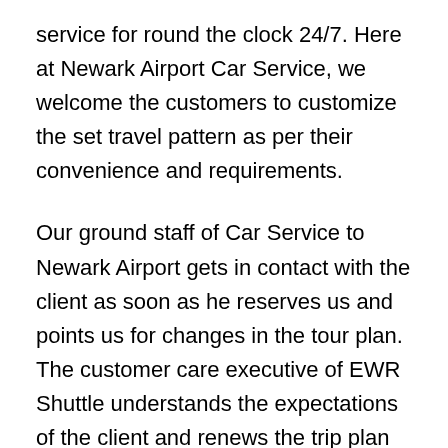service for round the clock 24/7. Here at Newark Airport Car Service, we welcome the customers to customize the set travel pattern as per their convenience and requirements.
Our ground staff of Car Service to Newark Airport gets in contact with the client as soon as he reserves us and points us for changes in the tour plan. The customer care executive of EWR Shuttle understands the expectations of the client and renews the trip plan for a leisure ride to Greenwich, CT, as per the need and demands of the customer.
We have years of experience in providing perfect car rental services to our clients in Greenwich, CT and nearby states. The Newark Airport Car Service